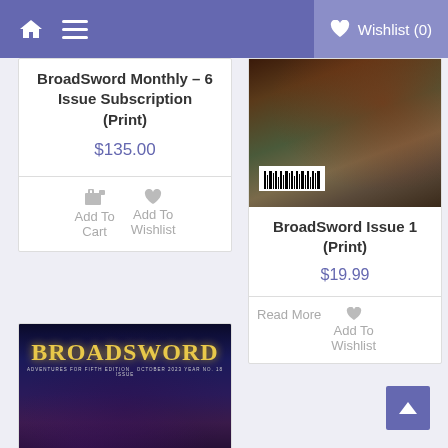Wishlist (0)
BroadSword Monthly – 6 Issue Subscription (Print)
$135.00
Add To Cart  Add To Wishlist
[Figure (photo): BroadSword Issue 1 print edition cover showing dark fantasy artwork with barcode visible]
BroadSword Issue 1 (Print)
$19.99
Read More  Add To Wishlist
[Figure (photo): BroadSword magazine cover with yellow title text on dark blue background]